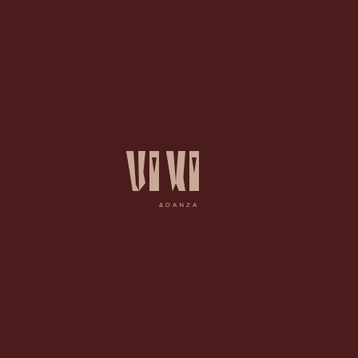[Figure (logo): VIVI & DANZA logo on dark brown background. The word VIVI is rendered in large stylized uppercase letters with a cutout/notch design, and '&DANZA' appears in small spaced uppercase letters below.]